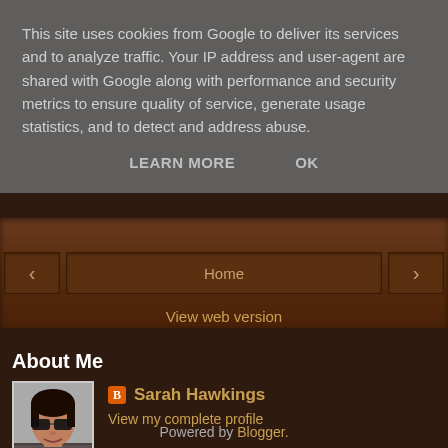This site uses cookies from Google to deliver its services and to analyze traffic. Your IP address and user-agent are shared with Google along with performance and security metrics to ensure quality of service, generate usage statistics, and to detect and address abuse.
LEARN MORE   OK
< Home >
View web version
About Me
Sarah Hawkings
View my complete profile
Powered by Blogger.